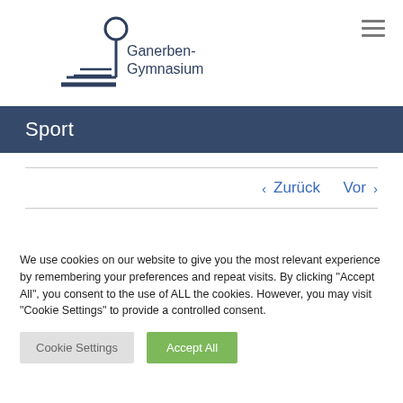[Figure (logo): Ganerben-Gymnasium school logo with geometric pin/post symbol and text]
Sport
‹ Zurück   Vor ›
We use cookies on our website to give you the most relevant experience by remembering your preferences and repeat visits. By clicking "Accept All", you consent to the use of ALL the cookies. However, you may visit "Cookie Settings" to provide a controlled consent.
Cookie Settings
Accept All